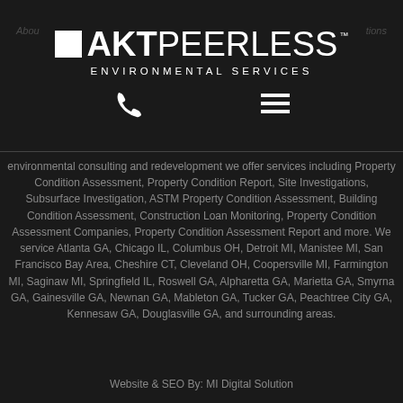[Figure (logo): AKT Peerless Environmental Services logo: white square icon followed by bold AKT and lighter PEERLESS text with TM mark, and ENVIRONMENTAL SERVICES subtitle]
About | AKT Peerless Environmental Services | Solutions
environmental consulting and redevelopment we offer services including Property Condition Assessment, Property Condition Report, Site Investigations, Subsurface Investigation, ASTM Property Condition Assessment, Building Condition Assessment, Construction Loan Monitoring, Property Condition Assessment Companies, Property Condition Assessment Report and more. We service Atlanta GA, Chicago IL, Columbus OH, Detroit MI, Manistee MI, San Francisco Bay Area, Cheshire CT, Cleveland OH, Coopersville MI, Farmington MI, Saginaw MI, Springfield IL, Roswell GA, Alpharetta GA, Marietta GA, Smyrna GA, Gainesville GA, Newnan GA, Mableton GA, Tucker GA, Peachtree City GA, Kennesaw GA, Douglasville GA, and surrounding areas.
Website & SEO By: MI Digital Solution